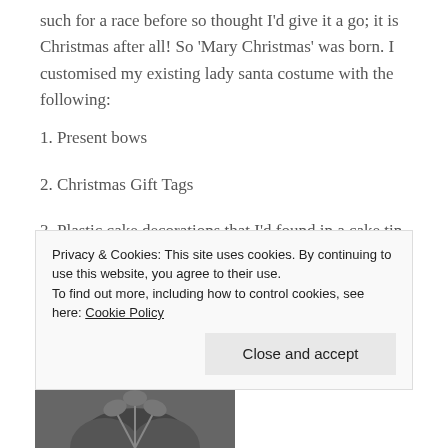such for a race before so thought I'd give it a go; it is Christmas after all! So 'Mary Christmas' was born. I customised my existing lady santa costume with the following:
1. Present bows
2. Christmas Gift Tags
3. Plastic cake decorations that I'd found in a cake tin 5 minutes before I set off which I'd sewn into the...
Privacy & Cookies: This site uses cookies. By continuing to use this website, you agree to their use.
To find out more, including how to control cookies, see here: Cookie Policy
[Figure (photo): Partial photo visible at bottom of page, appears to be a black and white or grayscale image of a plant or floral decoration]